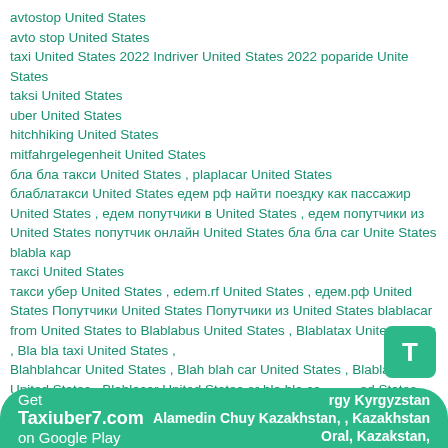avtostop United States
avto stop United States
taxi United States 2022 Indriver United States 2022 poparide United States
taksi United States
uber United States
hitchhiking United States
mitfahrgelegenheit United States
бла бла такси United States , plaplacar United States
блаблатакси United States едем рф найти поездку как пассажир United States , едем попутчики в United States , едем попутчики из United States попутчик онлайн United States бла бла car United States blabla кар
такci United States
такси убер United States , edem.rf United States , едем.рф United States Попутчики United States Попутчики из United States blablacar from United States to Blablabus United States , Blablatax United States , Bla bla taxi United States ,
Blahblahcar United States , Blah blah car United States , Blablacar bus United States , Blablacar United States or bla bla car United States
taxi United carpooling United taxi States carpooling Sta...
Get Taxiuber7.com on Google Play rgy Kyrgyzstan Alamedin Chuy Kazakhstan, , Kazakhstan Oral, Kazakstan,